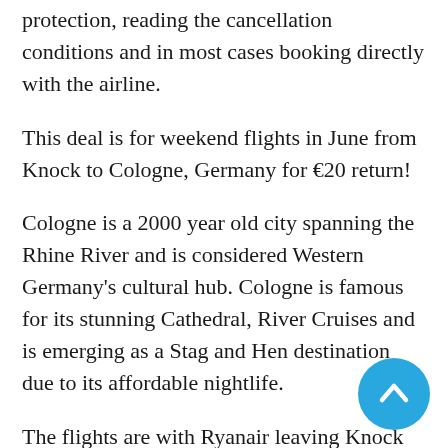protection, reading the cancellation conditions and in most cases booking directly with the airline.
This deal is for weekend flights in June from Knock to Cologne, Germany for €20 return!
Cologne is a 2000 year old city spanning the Rhine River and is considered Western Germany's cultural hub. Cologne is famous for its stunning Cathedral, River Cruises and is emerging as a Stag and Hen destination due to its affordable nightlife.
The flights are with Ryanair leaving Knock and are direct to Cologne. Ryanair changed their baggage policy and now only allow you a bag under your seat for the cheapest fare. You can add on an additional cabin bag or a checked bag through the links below. The auto-pilot for…